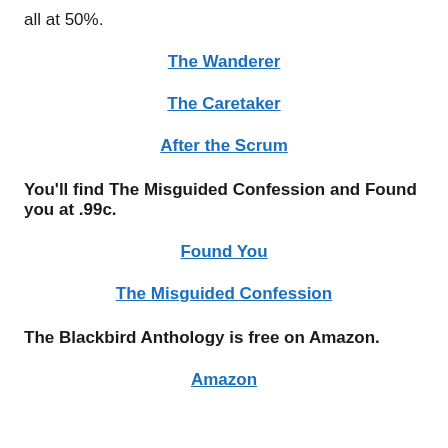all at 50%.
The Wanderer
The Caretaker
After the Scrum
You'll find The Misguided Confession and Found you at .99c.
Found You
The Misguided Confession
The Blackbird Anthology is free on Amazon.
Amazon